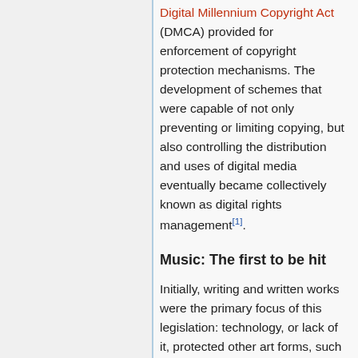Digital Millennium Copyright Act (DMCA) provided for enforcement of copyright protection mechanisms. The development of schemes that were capable of not only preventing or limiting copying, but also controlling the distribution and uses of digital media eventually became collectively known as digital rights management[1].
Music: The first to be hit
Initially, writing and written works were the primary focus of this legislation: technology, or lack of it, protected other art forms, such as film and music, from being easily copied or distributed in a way that required heavy enforcement.
The Conditions
However, as technology improved